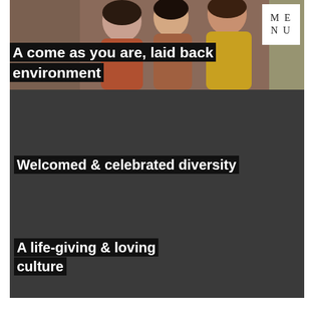[Figure (photo): Three smiling women standing together, one in rust/orange dress, one in yellow dress, photographed from front, warm indoor setting]
A come as you are, laid back environment
ME
NU
Welcomed & celebrated diversity
A life-giving & loving culture